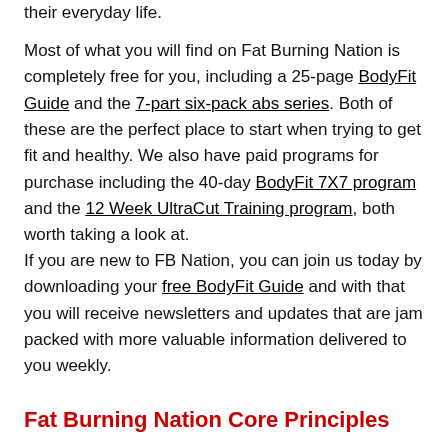their everyday life.
Most of what you will find on Fat Burning Nation is completely free for you, including a 25-page BodyFit Guide and the 7-part six-pack abs series. Both of these are the perfect place to start when trying to get fit and healthy. We also have paid programs for purchase including the 40-day BodyFit 7X7 program and the 12 Week UltraCut Training program, both worth taking a look at.
If you are new to FB Nation, you can join us today by downloading your free BodyFit Guide and with that you will receive newsletters and updates that are jam packed with more valuable information delivered to you weekly.
Fat Burning Nation Core Principles